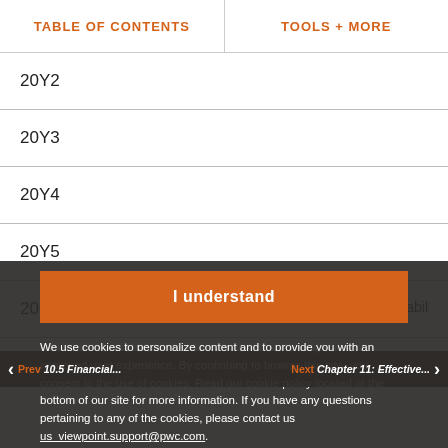TABLE OF CONTENTS | TOOLS + MORE
20Y2
20Y3
20Y4
20Y5
20Y6
I understand
We use cookies to personalize content and to provide you with an improved user experience. By continuing to browse this site, you consent to the use of cookies. Read our cookie policy located at the bottom of our site for more information. If you have any questions pertaining to any of the cookies, please contact us us_viewpoint.support@pwc.com.
Prev 10.5 Financial... | Next Chapter 11: Effective...